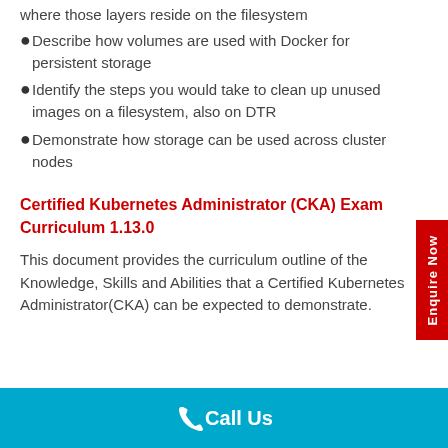where those layers reside on the filesystem
Describe how volumes are used with Docker for persistent storage
Identify the steps you would take to clean up unused images on a filesystem, also on DTR
Demonstrate how storage can be used across cluster nodes
Certified Kubernetes Administrator (CKA) Exam Curriculum 1.13.0
This document provides the curriculum outline of the Knowledge, Skills and Abilities that a Certified Kubernetes Administrator(CKA) can be expected to demonstrate.
Call Us